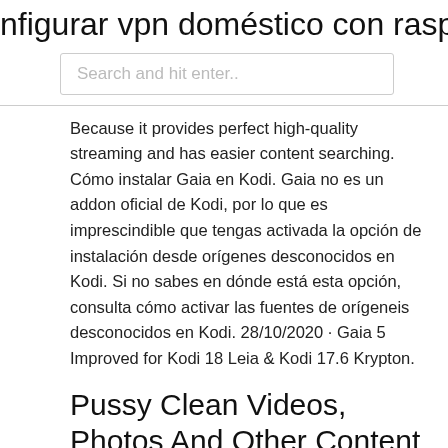nfigurar vpn doméstico con raspberr
Search and hit enter..
Because it provides perfect high-quality streaming and has easier content searching. Cómo instalar Gaia en Kodi. Gaia no es un addon oficial de Kodi, por lo que es imprescindible que tengas activada la opción de instalación desde orígenes desconocidos en Kodi. Si no sabes en dónde está esta opción, consulta cómo activar las fuentes de orígeneis desconocidos en Kodi. 28/10/2020 · Gaia 5 Improved for Kodi 18 Leia & Kodi 17.6 Krypton.
Pussy Clean Videos, Photos And Other Content and Other .
It's very complex to configure but very stable and rewarding after managing to configure it completely. With the high amount of customization available in the Gaia Kodi addon, the changes made to Kodi 18 involved a major upgrade.
7 ideas de Philips internet de las